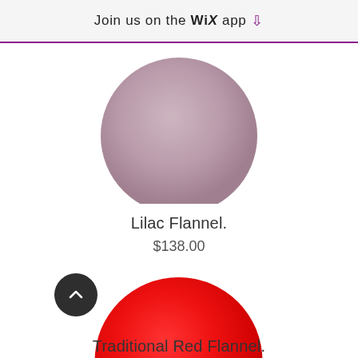Join us on the WiX app
[Figure (illustration): Partial lilac/mauve colored circle (product image) cropped at top]
Lilac Flannel.
$138.00
[Figure (illustration): Bright red circular product image]
Traditional Red Flannel.